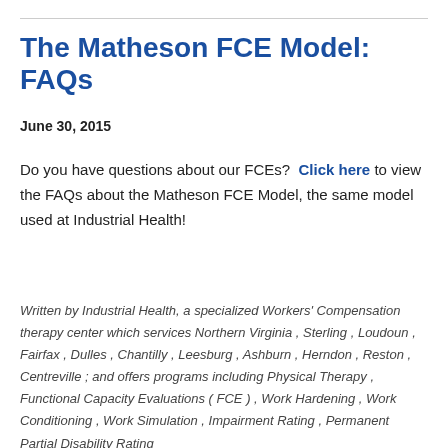The Matheson FCE Model: FAQs
June 30, 2015
Do you have questions about our FCEs?  Click here to view the FAQs about the Matheson FCE Model, the same model used at Industrial Health!
Written by Industrial Health, a specialized Workers' Compensation therapy center which services Northern Virginia , Sterling , Loudoun , Fairfax , Dulles , Chantilly , Leesburg , Ashburn , Herndon , Reston , Centreville ; and offers programs including Physical Therapy , Functional Capacity Evaluations ( FCE ) , Work Hardening , Work Conditioning , Work Simulation , Impairment Rating , Permanent Partial Disability Rating